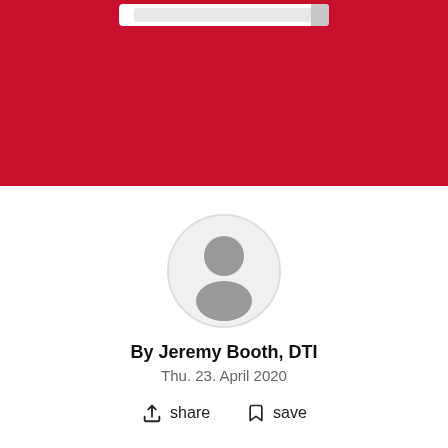[Figure (photo): Red banner background at top of page with a small white browser address bar element visible at the top center]
[Figure (photo): Circular gray placeholder avatar/silhouette of a person, centered on white background]
By Jeremy Booth, DTI
Thu. 23. April 2020
share   save
COPENHAGEN, Denmark: Dental clinics in